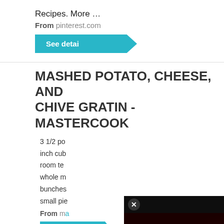Recipes. More …
From pinterest.com
See detai
MASHED POTATO, CHEESE, AND CHIVE GRATIN - MASTERCOOK
3 1/2 po… inch cub… room te… whole m… bunches… small pie…
From m…
See d…
[Figure (screenshot): Video player overlay showing 'No compatible source was found for this media.' with text 'IMMUNE SYSTEM HOW IT ACTUALLY WORKS' on dark red background. Close button and 'Powered By VDO.AI' in top bar.]
MASHED POTATO, CHEESE, AND